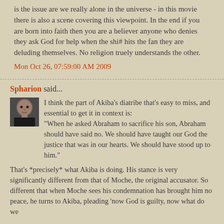is the issue are we really alone in the universe - in this movie there is also a scene covering this viewpoint. In the end if you are born into faith then you are a believer anyone who denies they ask God for help when the shi# hits the fan they are deluding themselves. No religion truely understands the other.
Mon Oct 26, 07:59:00 AM 2009
Spharion said...
[Figure (photo): Small avatar photo of a bald man]
I think the part of Akiba's diatribe that's easy to miss, and essential to get it in context is:
"When he asked Abraham to sacrifice his son, Abraham should have said no. We should have taught our God the justice that was in our hearts. We should have stood up to him."
That's *precisely* what Akiba is doing. His stance is very significantly different from that of Moche, the original accusator. So different that when Moche sees his condemnation has brought him no peace, he turns to Akiba, pleading 'now God is guilty, now what do we